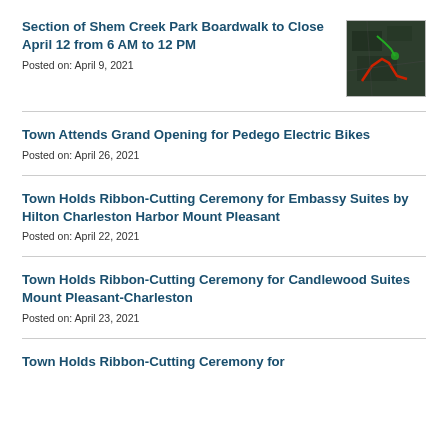Section of Shem Creek Park Boardwalk to Close April 12 from 6 AM to 12 PM
Posted on: April 9, 2021
[Figure (photo): Aerial satellite map image showing Shem Creek Park area with colored route overlays (red and green lines)]
Town Attends Grand Opening for Pedego Electric Bikes
Posted on: April 26, 2021
Town Holds Ribbon-Cutting Ceremony for Embassy Suites by Hilton Charleston Harbor Mount Pleasant
Posted on: April 22, 2021
Town Holds Ribbon-Cutting Ceremony for Candlewood Suites Mount Pleasant-Charleston
Posted on: April 23, 2021
Town Holds Ribbon-Cutting Ceremony for